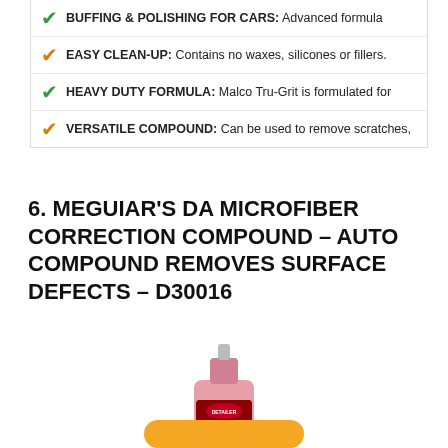BUFFING & POLISHING FOR CARS: Advanced formula
EASY CLEAN-UP: Contains no waxes, silicones or fillers.
HEAVY DUTY FORMULA: Malco Tru-Grit is formulated for
VERSATILE COMPOUND: Can be used to remove scratches,
6. MEGUIAR’S DA MICROFIBER CORRECTION COMPOUND – AUTO COMPOUND REMOVES SURFACE DEFECTS – D30016
[Figure (photo): Meguiar's DA Microfiber Correction Compound bottle, pink/red label, squeeze bottle shape]